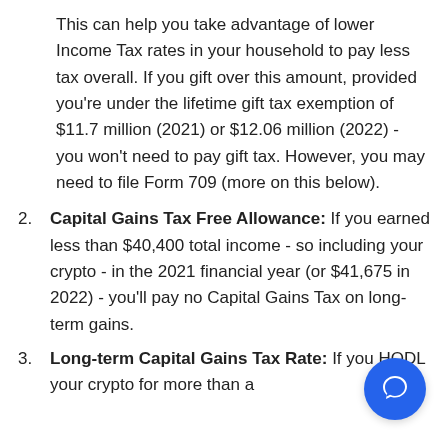This can help you take advantage of lower Income Tax rates in your household to pay less tax overall. If you gift over this amount, provided you're under the lifetime gift tax exemption of $11.7 million (2021) or $12.06 million (2022) - you won't need to pay gift tax. However, you may need to file Form 709 (more on this below).
Capital Gains Tax Free Allowance: If you earned less than $40,400 total income - so including your crypto - in the 2021 financial year (or $41,675 in 2022) - you'll pay no Capital Gains Tax on long-term gains.
Long-term Capital Gains Tax Rate: If you HODL your crypto for more than a